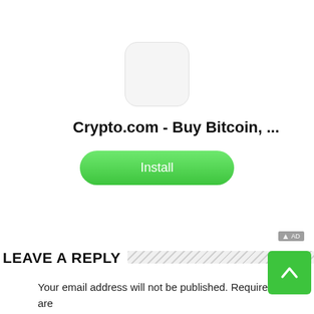[Figure (screenshot): App store advertisement for Crypto.com showing a white app icon placeholder, app title 'Crypto.com - Buy Bitcoin, ...', a green Install button, and an AD badge in the corner.]
LEAVE A REPLY
Your email address will not be published. Required fields are